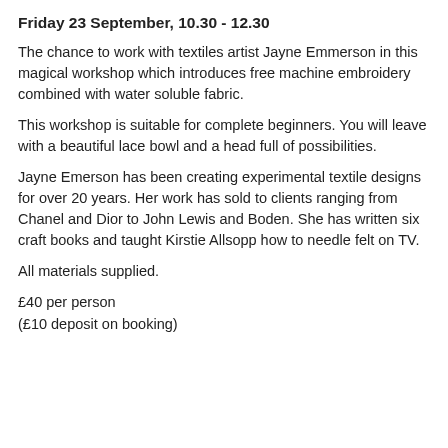Friday 23 September, 10.30 - 12.30
The chance to work with textiles artist Jayne Emmerson in this magical workshop which introduces free machine embroidery combined with water soluble fabric.
This workshop is suitable for complete beginners. You will leave with a beautiful lace bowl and a head full of possibilities.
Jayne Emerson has been creating experimental textile designs for over 20 years. Her work has sold to clients ranging from Chanel and Dior to John Lewis and Boden. She has written six craft books and taught Kirstie Allsopp how to needle felt on TV.
All materials supplied.
£40 per person
(£10 deposit on booking)